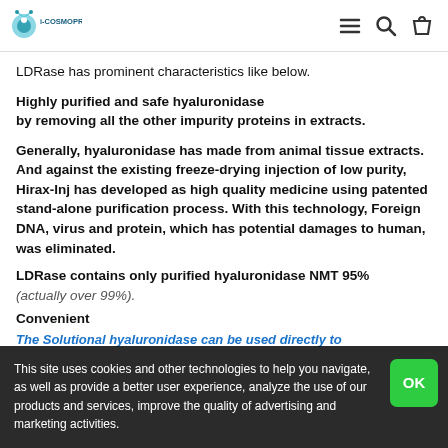i-COSMOPROF (logo) — navigation icons
LDRase has prominent characteristics like below.
Highly purified and safe hyaluronidase by removing all the other impurity proteins in extracts.
Generally, hyaluronidase has made from animal tissue extracts. And against the existing freeze-drying injection of low purity, Hirax-Inj has developed as high quality medicine using patented stand-alone purification process. With this technology, Foreign DNA, virus and protein, which has potential damages to human, was eliminated.
LDRase contains only purified hyaluronidase NMT 95% (actually over 99%).
Convenient
The Solutional hyaluronidase can be used directly to
This site uses cookies and other technologies to help you navigate, as well as provide a better user experience, analyze the use of our products and services, improve the quality of advertising and marketing activities.